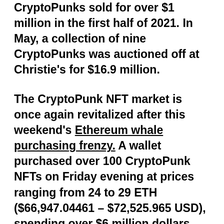CryptoPunks sold for over $1 million in the first half of 2021. In May, a collection of nine CryptoPunks was auctioned off at Christie's for $16.9 million.
The CryptoPunk NFT market is once again revitalized after this weekend's Ethereum whale purchasing frenzy. A wallet purchased over 100 CryptoPunk NFTs on Friday evening at prices ranging from 24 to 29 ETH ($66,947.04461 – $72,525.965 USD), spending over $6 million dollars.
The purchasing spree started last Thursday, July 29, and continued through...